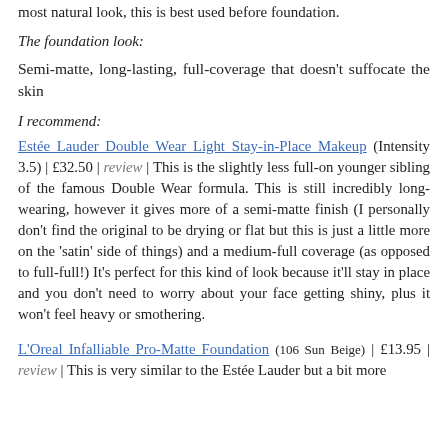most natural look, this is best used before foundation.
The foundation look:
Semi-matte, long-lasting, full-coverage that doesn't suffocate the skin
I recommend:
Estée Lauder Double Wear Light Stay-in-Place Makeup (Intensity 3.5) | £32.50 | review | This is the slightly less full-on younger sibling of the famous Double Wear formula. This is still incredibly long-wearing, however it gives more of a semi-matte finish (I personally don't find the original to be drying or flat but this is just a little more on the 'satin' side of things) and a medium-full coverage (as opposed to full-full!) It's perfect for this kind of look because it'll stay in place and you don't need to worry about your face getting shiny, plus it won't feel heavy or smothering.
L'Oreal Infalliable Pro-Matte Foundation (106 Sun Beige) | £13.95 | review | This is very similar to the Estée Lauder but a bit more